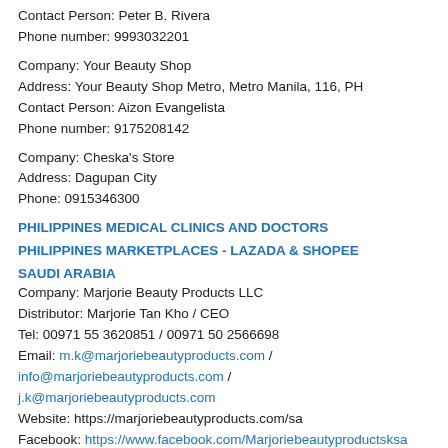Contact Person: Peter B. Rivera
Phone number: 9993032201
Company: Your Beauty Shop
Address: Your Beauty Shop Metro, Metro Manila, 116, PH
Contact Person: Aizon Evangelista
Phone number: 9175208142
Company: Cheska's Store
Address: Dagupan City
Phone: 0915346300
PHILIPPINES MEDICAL CLINICS AND DOCTORS
PHILIPPINES MARKETPLACES -  LAZADA & SHOPEE
SAUDI ARABIA
Company: Marjorie Beauty Products LLC
Distributor: Marjorie Tan Kho / CEO
Tel: 00971 55 3620851  / 00971 50 2566698
Email: m.k@marjoriebeautyproducts.com / info@marjoriebeautyproducts.com / j.k@marjoriebeautyproducts.com
Website: https://marjoriebeautyproducts.com/sa
Facebook: https://www.facebook.com/Marjoriebeautyproductsksa